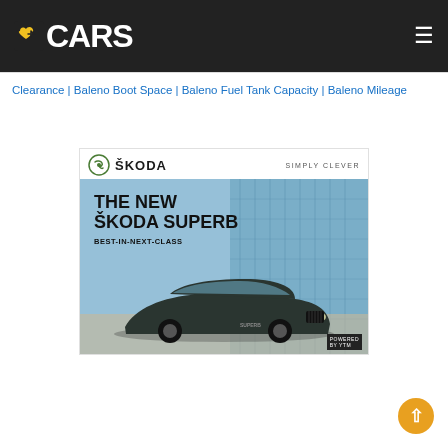BCARS
Clearance | Baleno Boot Space | Baleno Fuel Tank Capacity | Baleno Mileage
[Figure (photo): Škoda advertisement banner featuring the new Škoda Superb sedan with text 'THE NEW ŠKODA SUPERB - BEST-IN-NEXT-CLASS' and 'SIMPLY CLEVER' tagline. Car shown in front of a modern glass building background.]